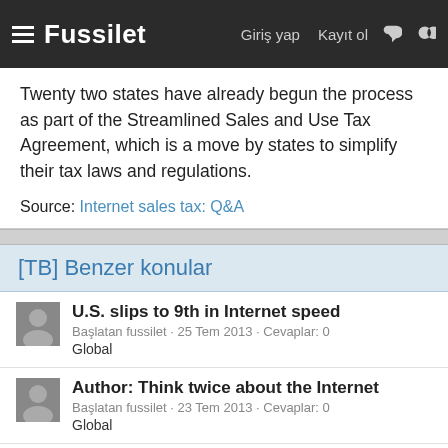Fussilet | Giriş yap | Kayıt ol
Twenty two states have already begun the process as part of the Streamlined Sales and Use Tax Agreement, which is a move by states to simplify their tax laws and regulations.
Source: Internet sales tax: Q&A
[TB] Benzer konular
U.S. slips to 9th in Internet speed
Başlatan fussilet · 25 Tem 2013 · Cevaplar: 0
Global
Author: Think twice about the Internet
Başlatan fussilet · 23 Tem 2013 · Cevaplar: 0
Global
Author: Think twice about 'the Internet'
Başlatan fussilet · 20 Tem 2013 · Cevaplar: 0
Global